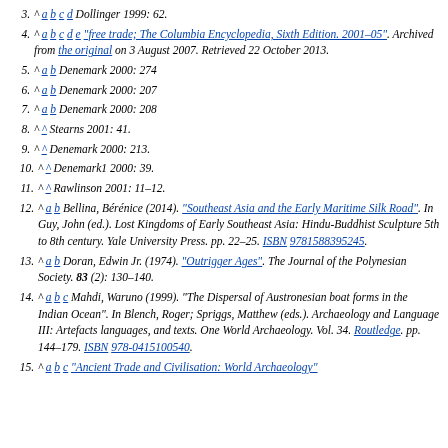3. ^ a b c d Dollinger 1999: 62.
4. ^ a b c d e "free trade; The Columbia Encyclopedia, Sixth Edition. 2001–05". Archived from the original on 3 August 2007. Retrieved 22 October 2013.
5. ^ a b Denemark 2000: 274
6. ^ a b Denemark 2000: 207
7. ^ a b Denemark 2000: 208
8. ^ Stearns 2001: 41.
9. ^ Denemark 2000: 213.
10. ^ Denemark1 2000: 39.
11. ^ Rawlinson 2001: 11–12.
12. ^ a b Bellina, Bérénice (2014). "Southeast Asia and the Early Maritime Silk Road". In Guy, John (ed.). Lost Kingdoms of Early Southeast Asia: Hindu-Buddhist Sculpture 5th to 8th century. Yale University Press. pp. 22–25. ISBN 9781588395245.
13. ^ a b Doran, Edwin Jr. (1974). "Outrigger Ages". The Journal of the Polynesian Society. 83 (2): 130–140.
14. ^ a b c Mahdi, Waruno (1999). "The Dispersal of Austronesian boat forms in the Indian Ocean". In Blench, Roger; Spriggs, Matthew (eds.). Archaeology and Language III: Artefacts languages, and texts. One World Archaeology. Vol. 34. Routledge. pp. 144–179. ISBN 978-0415100540.
15. ^ a b c "Ancient Trade and Civilisation: World Archaeology"